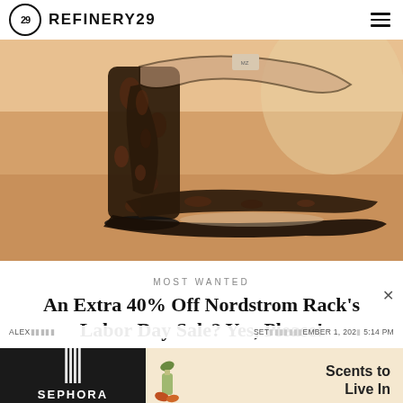REFINERY29
[Figure (photo): Close-up photograph of a dark tortoiseshell patent leather block-heel sandal against a warm orange/peach background]
MOST WANTED
An Extra 40% Off Nordstrom Rack's Labor Day Sale? Yes, Please!
[Figure (screenshot): Advertisement banner: Sephora Shop Now on black left panel; Scents to Live In text with perfume bottle and leaf motifs on beige right panel]